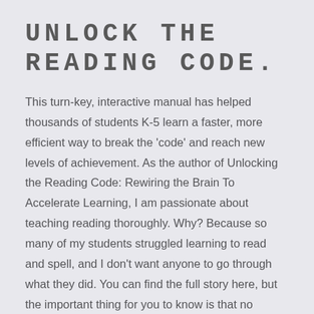UNLOCK THE READING CODE.
This turn-key, interactive manual has helped thousands of students K-5 learn a faster, more efficient way to break the 'code' and reach new levels of achievement. As the author of Unlocking the Reading Code: Rewiring the Brain To Accelerate Learning, I am passionate about teaching reading thoroughly. Why? Because so many of my students struggled learning to read and spell, and I don't want anyone to go through what they did. You can find the full story here, but the important thing for you to know is that no shortcuts were taken in the development of this award-winning, breakthrough program.